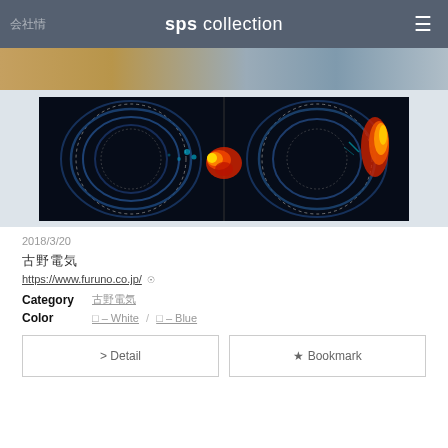sps collection
[Figure (photo): Banner strip showing sandy/rocky landscape and blue fabric]
[Figure (photo): Radar or sonar display image showing circular scanning pattern with heat-map coloring (blue, cyan, yellow, red) on black background, split into two panels]
2018/3/20
古野電気
https://www.furuno.co.jp/
Category  古野電気
Color  □ – White / □ – Blue
> Detail
★ Bookmark